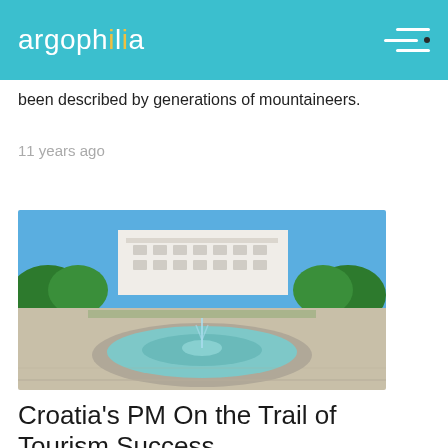argophilia
been described by generations of mountaineers.
11 years ago
[Figure (photo): A circular stone fountain with water jets in a public square, with a large classical white building and green trees in the background under a blue sky.]
Croatia's PM On the Trail of Tourism Success